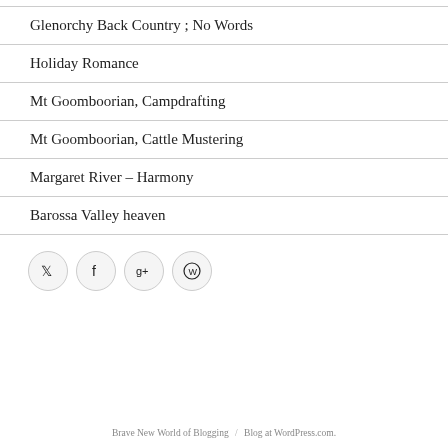Glenorchy Back Country ; No Words
Holiday Romance
Mt Goomboorian, Campdrafting
Mt Goomboorian, Cattle Mustering
Margaret River – Harmony
Barossa Valley heaven
[Figure (infographic): Social media icon buttons: Twitter, Facebook, Google+, WordPress]
Brave New World of Blogging / Blog at WordPress.com.